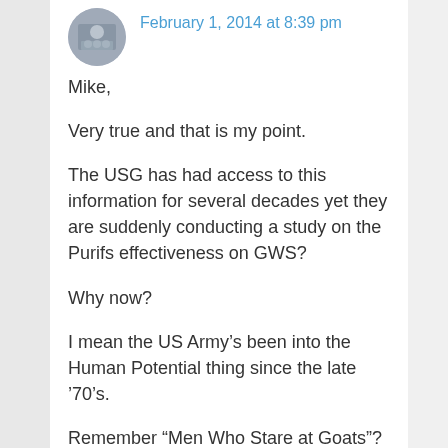[Figure (photo): Circular avatar photo of a person or group, grayscale]
February 1, 2014 at 8:39 pm
Mike,
Very true and that is my point.
The USG has had access to this information for several decades yet they are suddenly conducting a study on the Purifs effectiveness on GWS?
Why now?
I mean the US Army’s been into the Human Potential thing since the late ‘70’s.
Remember “Men Who Stare at Goats”?
Anyhoo…